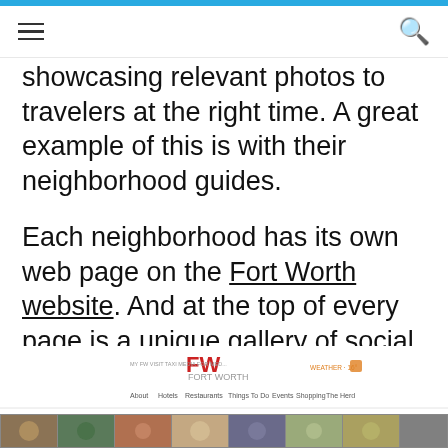≡  🔍
showcasing relevant photos to travelers at the right time. A great example of this is with their neighborhood guides.
Each neighborhood has its own web page on the Fort Worth website. And at the top of every page is a unique gallery of social images, all curated from that specific part of town.
[Figure (screenshot): Screenshot of the Fort Worth tourism website showing logo, navigation bar with About, Hotels, Restaurants, Things To Do, Events, Shopping, The Herd, and a strip of neighborhood photo images at the bottom.]